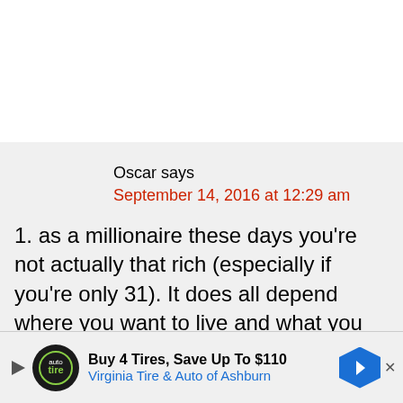Oscar says
September 14, 2016 at 12:29 am
1. as a millionaire these days you're not actually that rich (especially if you're only 31). It does all depend where you want to live and what you want to do for the next 50 or so years, but if that's going to be in
[Figure (infographic): Advertisement banner: Buy 4 Tires, Save Up To $110 - Virginia Tire & Auto of Ashburn]